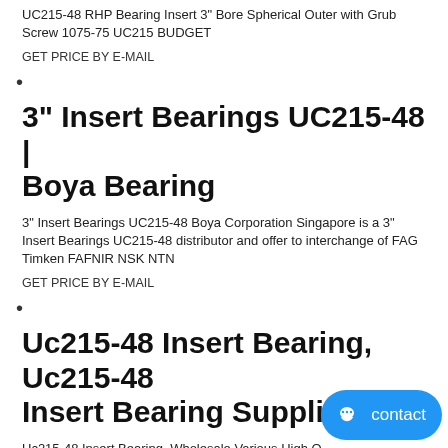UC215-48 RHP Bearing Insert 3" Bore Spherical Outer with Grub Screw 1075-75 UC215 BUDGET
GET PRICE BY E-MAIL
•
3" Insert Bearings UC215-48 | Boya Bearing
3" Insert Bearings UC215-48 Boya Corporation Singapore is a 3" Insert Bearings UC215-48 distributor and offer to interchange of FAG Timken FAFNIR NSK NTN
GET PRICE BY E-MAIL
•
Uc215-48 Insert Bearing, Uc215-48 Insert Bearing Suppliers
Uc215-48 Insert Bearing, Wholesale Various High Q... Insert Bearing Products from Global Uc215-48 Insert Bearing...